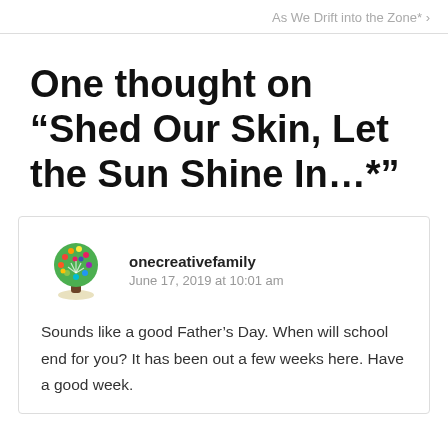As We Drift into the Zone* ›
One thought on “Shed Our Skin, Let the Sun Shine In…*”
onecreativefamily
June 17, 2019 at 10:01 am
Sounds like a good Father’s Day. When will school end for you? It has been out a few weeks here. Have a good week.